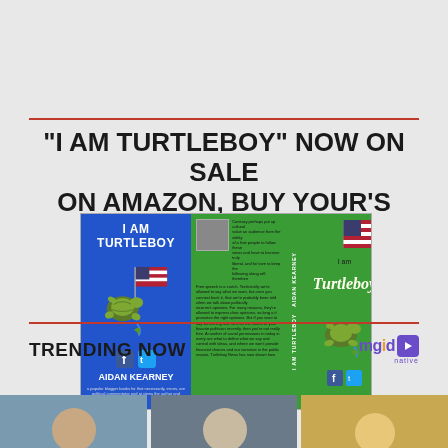“I AM TURTLEBOY” NOW ON SALE ON AMAZON, BUY YOUR’S TODAY
[Figure (photo): Book cover of 'I Am Turtleboy' by Aidan Kearney showing blue spine/back and green front cover with turtle illustration holding American flag]
TRENDING NOW
[Figure (logo): mgid logo in purple with play button icon]
[Figure (photo): Three thumbnail images of people at the bottom of the page]